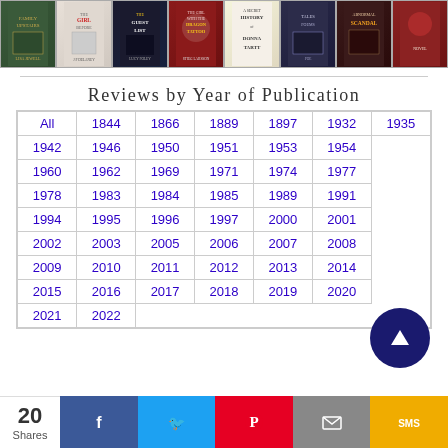[Figure (illustration): Row of book covers including The Family Upstairs, The Girl Before, The Guest List, The Girl with the Dragon Tattoo, A Secret History by Donna Tartt, Tales/Poems, and an Abnormal Scandal cover]
Reviews by Year of Publication
| All | 1844 | 1866 | 1889 | 1897 | 1932 | 1935 |
| --- | --- | --- | --- | --- | --- | --- |
| 1942 | 1946 | 1950 | 1951 | 1953 | 1954 |  |
| 1960 | 1962 | 1969 | 1971 | 1974 | 1977 |  |
| 1978 | 1983 | 1984 | 1985 | 1989 | 1991 |  |
| 1994 | 1995 | 1996 | 1997 | 2000 | 2001 |  |
| 2002 | 2003 | 2005 | 2006 | 2007 | 2008 |  |
| 2009 | 2010 | 2011 | 2012 | 2013 | 2014 |  |
| 2015 | 2016 | 2017 | 2018 | 2019 | 2020 |  |
| 2021 | 2022 |  |  |  |  |  |
20 Shares — Facebook, Twitter, Pinterest, Email, SMS